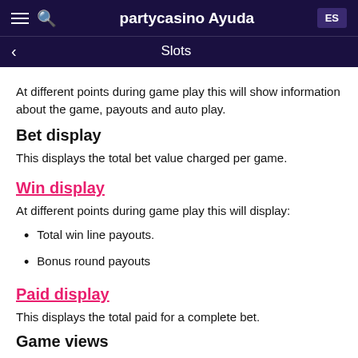partycasino Ayuda | Slots
At different points during game play this will show information about the game, payouts and auto play.
Bet display
This displays the total bet value charged per game.
Win display
At different points during game play this will display:
Total win line payouts.
Bonus round payouts
Paid display
This displays the total paid for a complete bet.
Game views
The game can be played in different views, as follows: